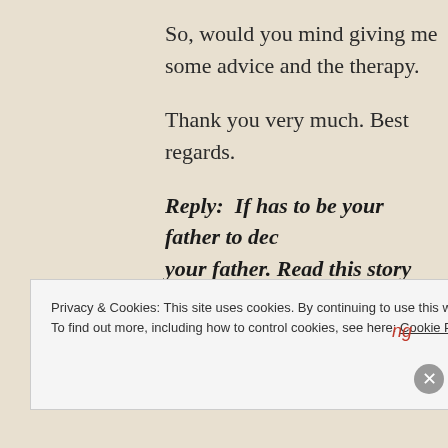So, would you mind giving me some advice and the therapy.
Thank you very much. Best regards.
Reply:  If has to be your father to decide your father. Read this story
http://cancercaremalaysia.com/2015/0 prostate-problem-refused-chemo-rad
Privacy & Cookies: This site uses cookies. By continuing to use this website, you agree to their use.
To find out more, including how to control cookies, see here: Cookie Policy
Close and accept